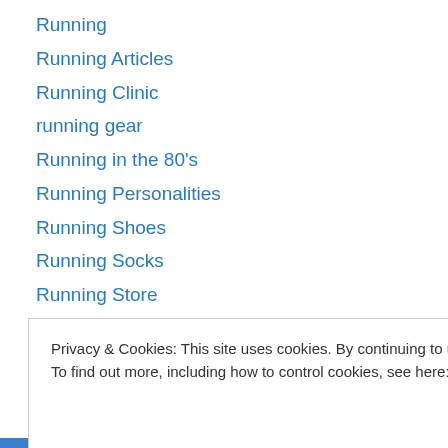Running
Running Articles
Running Clinic
running gear
Running in the 80's
Running Personalities
Running Shoes
Running Socks
Running Store
Runrio Trilogy 2017
Safeguard-2XU Sole Racing
Salomon X-Trail Run
Salomon XTrail Run
Privacy & Cookies: This site uses cookies. By continuing to use this website, you agree to their use.
To find out more, including how to control cookies, see here: Cookie Policy
Close and accept